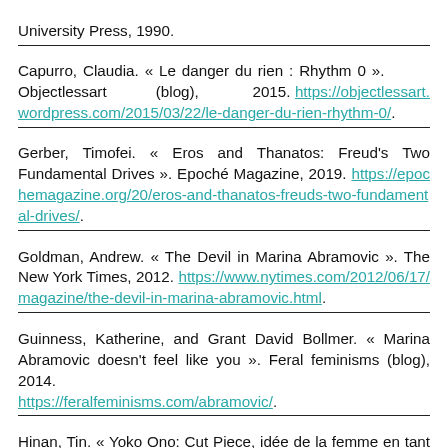University Press, 1990.
Capurro, Claudia. « Le danger du rien : Rhythm 0 ». Objectlessart (blog), 2015. https://objectlessart.wordpress.com/2015/03/22/le-danger-du-rien-rhythm-0/.
Gerber, Timofei. « Eros and Thanatos: Freud's Two Fundamental Drives ». Epoché Magazine, 2019. https://epochemagazine.org/20/eros-and-thanatos-freuds-two-fundamental-drives/.
Goldman, Andrew. « The Devil in Marina Abramovic ». The New York Times, 2012. https://www.nytimes.com/2012/06/17/magazine/the-devil-in-marina-abramovic.html.
Guinness, Katherine, and Grant David Bollmer. « Marina Abramovic doesn't feel like you ». Feral feminisms (blog), 2014. https://feralfeminisms.com/abramovic/.
Hinan, Tin. « Yoko Ono: Cut Piece, idée de la femme en tant qu'objet sexuel ». Les Ourses à